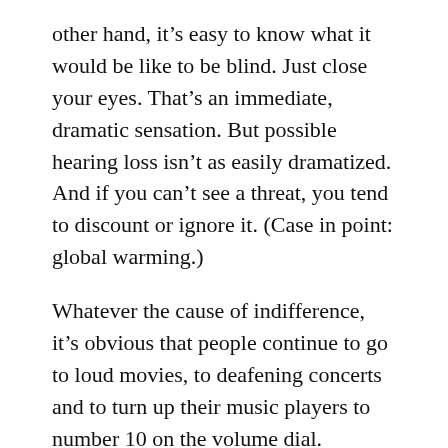other hand, it's easy to know what it would be like to be blind. Just close your eyes. That's an immediate, dramatic sensation. But possible hearing loss isn't as easily dramatized. And if you can't see a threat, you tend to discount or ignore it. (Case in point: global warming.)
Whatever the cause of indifference, it's obvious that people continue to go to loud movies, to deafening concerts and to turn up their music players to number 10 on the volume dial.
Four things to do
First, besides nagging your children and grandchildren—you can tell them to listen to